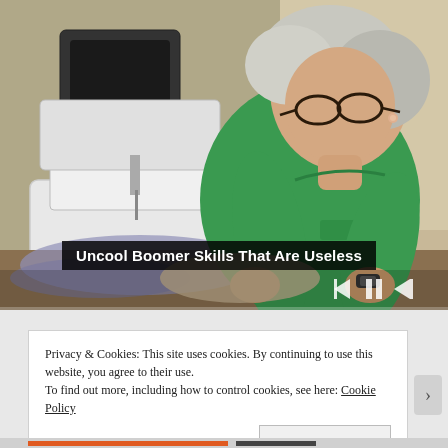[Figure (screenshot): Video thumbnail/player showing an elderly woman with white/gray hair and glasses, wearing a green t-shirt, working at a white sewing machine. Video player controls (previous, pause, next) visible in lower right. A thin progress bar at the bottom of the video area.]
Uncool Boomer Skills That Are Useless
Privacy & Cookies: This site uses cookies. By continuing to use this website, you agree to their use.
To find out more, including how to control cookies, see here: Cookie Policy
Close and accept